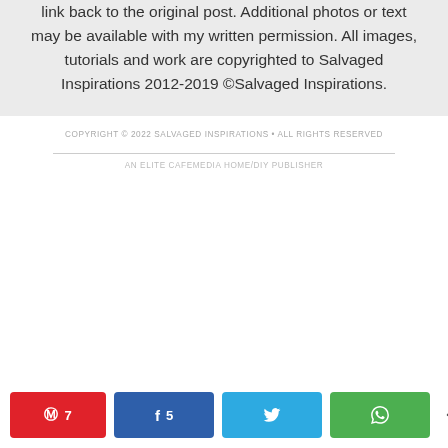link back to the original post. Additional photos or text may be available with my written permission. All images, tutorials and work are copyrighted to Salvaged Inspirations 2012-2019 ©Salvaged Inspirations.
COPYRIGHT © 2022 SALVAGED INSPIRATIONS • ALL RIGHTS RESERVED
AN ELITE CAFEMEDIA HOME/DIY PUBLISHER
A 7  Share on Facebook 5  Tweet  Share on WhatsApp  < 12 SHARES